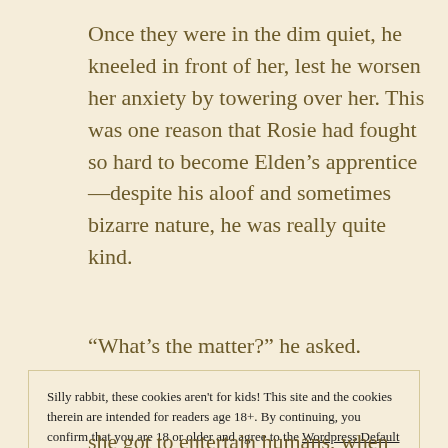Once they were in the dim quiet, he kneeled in front of her, lest he worsen her anxiety by towering over her. This was one reason that Rosie had fought so hard to become Elden’s apprentice—despite his aloof and sometimes bizarre nature, he was really quite kind.
“What’s the matter?” he asked.
Silly rabbit, these cookies aren't for kids! This site and the cookies therein are intended for readers age 18+. By continuing, you confirm that you are 18 or older and agree to the Wordpress Default Cookie Policy
Close and accept
she got to entertain humans, when